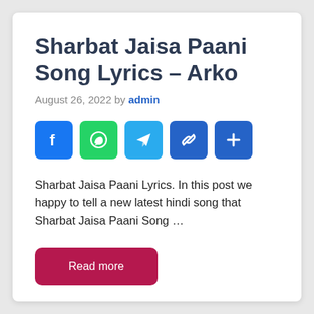Sharbat Jaisa Paani Song Lyrics – Arko
August 26, 2022 by admin
[Figure (infographic): Social sharing icons row: Facebook (blue), WhatsApp (green), Telegram (cyan), Link (blue), More/Plus (blue)]
Sharbat Jaisa Paani Lyrics. In this post we happy to tell a new latest hindi song that Sharbat Jaisa Paani Song …
Read more